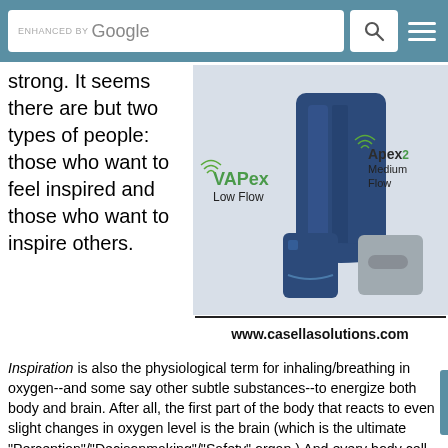ENHANCED BY Google [search bar]
strong. It seems there are but two types of people: those who want to feel inspired and those who want to inspire others.
[Figure (photo): Advertisement showing VAPex Low Flow and Apex2 Medium Flow devices (blue and grey portable oxygen/air sampling units) with website www.casellasolutions.com]
Inspiration is also the physiological term for inhaling/breathing in oxygen--and some say other subtle substances--to energize both body and brain. After all, the first part of the body that reacts to even slight changes in oxygen level is the brain (which is the ultimate "Perception"/"Decisonmaking"/"Safety" organ.) And every body cell relies on an oxidative process to thrive, repair, or